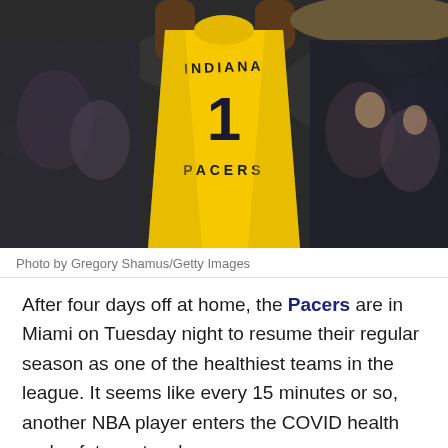[Figure (photo): Indiana Pacers player wearing yellow jersey with number 1, raising arms, crowd in background]
Photo by Gregory Shamus/Getty Images
After four days off at home, the Pacers are in Miami on Tuesday night to resume their regular season as one of the healthiest teams in the league. It seems like every 15 minutes or so, another NBA player enters the COVID health and safety protocol.